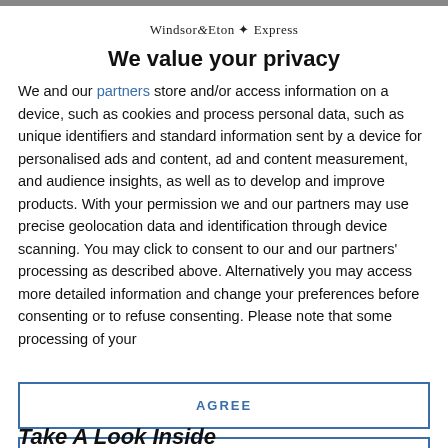Windsor&Eton Express
We value your privacy
We and our partners store and/or access information on a device, such as cookies and process personal data, such as unique identifiers and standard information sent by a device for personalised ads and content, ad and content measurement, and audience insights, as well as to develop and improve products. With your permission we and our partners may use precise geolocation data and identification through device scanning. You may click to consent to our and our partners' processing as described above. Alternatively you may access more detailed information and change your preferences before consenting or to refuse consenting. Please note that some processing of your
AGREE
MORE OPTIONS
Take A Look Inside